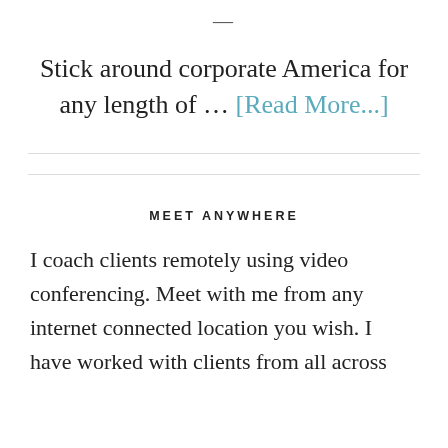—
Stick around corporate America for any length of … [Read More...]
MEET ANYWHERE
I coach clients remotely using video conferencing. Meet with me from any internet connected location you wish. I have worked with clients from all across